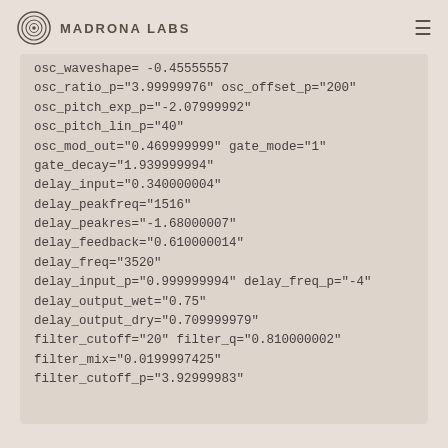Madrona Labs
osc_waveshape= -0.45555557
osc_ratio_p="3.99999976" osc_offset_p="200"
osc_pitch_exp_p="-2.07999992"
osc_pitch_lin_p="40"
osc_mod_out="0.469999999" gate_mode="1"
gate_decay="1.939999994"
delay_input="0.340000004"
delay_peakfreq="1516"
delay_peakres="-1.68000007"
delay_feedback="0.610000014"
delay_freq="3520"
delay_input_p="0.999999994" delay_freq_p="-4"
delay_output_wet="0.75"
delay_output_dry="0.709999979"
filter_cutoff="20" filter_q="0.810000002"
filter_mix="0.0199997425"
filter_cutoff_p="3.92999983"